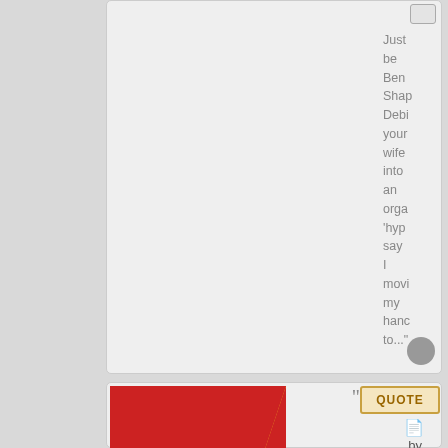Just be Ben Shap Debi your wife into an orga 'hyp say I movi my hanc to...
[Figure (illustration): Flag of Jovuistan: red upper-right triangle, blue left triangle, yellow lower-right triangle]
Jovuistan
Senator
Posts: 4933
Founded: May 10, 2016
QUOTE
by Jovuistan
» Sat Oct 16, 2021 6:06 am